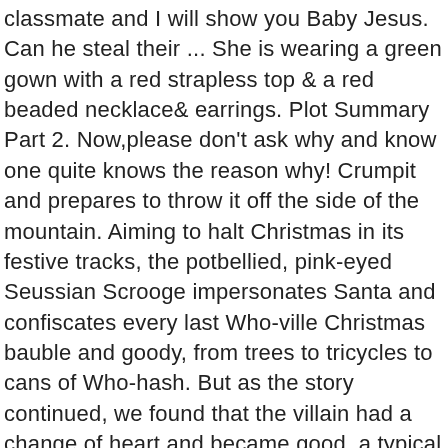classmate and I will show you Baby Jesus. Can he steal their ... She is wearing a green gown with a red strapless top & a red beaded necklace& earrings. Plot Summary Part 2. Now,please don't ask why and know one quite knows the reason why! Crumpit and prepares to throw it off the side of the mountain. Aiming to halt Christmas in its festive tracks, the potbellied, pink-eyed Seussian Scrooge impersonates Santa and confiscates every last Who-ville Christmas bauble and goody, from trees to tricycles to cans of Who-hash. But as the story continued, we found that the villain had a change of heart and became good, a typical happy ending, considering it is ... The Grinch stole all the presents and tress and Christmas decorations from the houses and puts them in a bag to throw over a cliff. The Grinch tries to create a hand-made present for Margaret and shave off his facial hair, but the bad shaving job causes the class to laugh at him, finally causing him to hate Christmas. "I just wish that Christmas was fun for me, too," the Grinch said to Max as he heated up stew. BACK; NEXT ; Coming